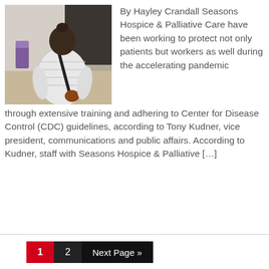[Figure (photo): Person seen from behind wearing a white puffy jacket with a black bag strap, in an indoor setting.]
By Hayley Crandall Seasons Hospice & Palliative Care have been working to protect not only patients but workers as well during the accelerating pandemic through extensive training and adhering to Center for Disease Control (CDC) guidelines, according to Tony Kudner, vice president, communications and public affairs. According to Kudner, staff with Seasons Hospice & Palliative […]
1  2  Next Page »